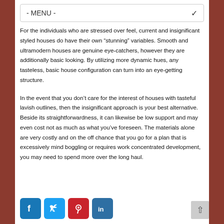- MENU -
For the individuals who are stressed over feel, current and insignificant styled houses do have their own “stunning” variables. Smooth and ultramodern houses are genuine eye-catchers, however they are additionally basic looking. By utilizing more dynamic hues, any tasteless, basic house configuration can turn into an eye-getting structure.
In the event that you don’t care for the interest of houses with tasteful lavish outlines, then the insignificant approach is your best alternative. Beside its straightforwardness, it can likewise be low support and may even cost not as much as what you’ve foreseen. The materials alone are very costly and on the off chance that you go for a plan that is excessively mind boggling or requires work concentrated development, you may need to spend more over the long haul.
[Figure (infographic): Social media share icons: Facebook (blue), Twitter (light blue), Pinterest (red), LinkedIn (blue)]